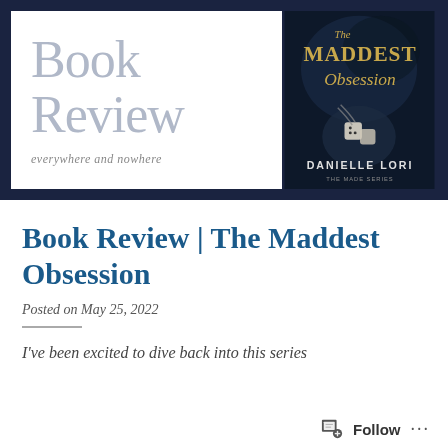[Figure (illustration): Blog header banner with dark navy border. Left side shows 'Book Review' in large light grey serif text with tagline 'everywhere and nowhere'. Right side shows book cover for 'The Maddest Obsession' by Danielle Lori with dark atmospheric design.]
Book Review | The Maddest Obsession
Posted on May 25, 2022
I've been excited to dive back into this series